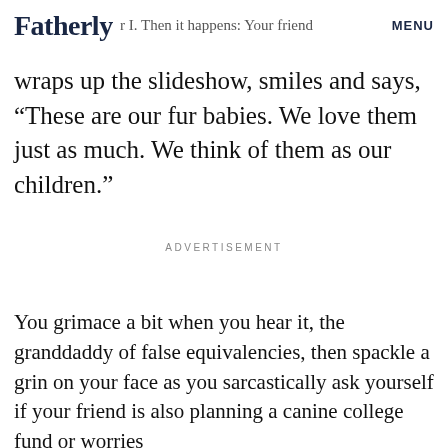Fatherly | MENU
wraps up the slideshow, smiles and says, “These are our fur babies. We love them just as much. We think of them as our children.”
ADVERTISEMENT
You grimace a bit when you hear it, the granddaddy of false equivalencies, then spackle a grin on your face as you sarcastically ask yourself if your friend is also planning a canine college fund or worries